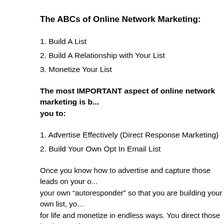The ABCs of Online Network Marketing:
1. Build A List
2. Build A Relationship with Your List
3. Monetize Your List
The most IMPORTANT aspect of online network marketing is b... you to:
1. Advertise Effectively (Direct Response Marketing)
2. Build Your Own Opt In Email List
Once you know how to advertise and capture those leads on your o... your own “autoresponder” so that you are building your own list, yo... for life and monetize in endless ways. You direct those leads to revi... Marketing Program as well as other relevant offers such as Training... affiliate marketing), Marketing Tools and Resources or Secondary M... Sales programs in other price points. It’s really endless how you ch...